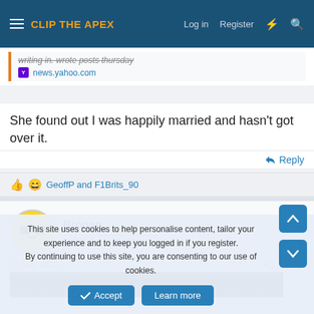CLIP THE APEX | Log in | Register
news.yahoo.com
She found out I was happily married and hasn't got over it.
Reply
GeoffP and F1Brits_90
Brogan
Legend  Staff Member
10 May 2022  #105
[Figure (photo): Dark image preview]
This site uses cookies to help personalise content, tailor your experience and to keep you logged in if you register.
By continuing to use this site, you are consenting to our use of cookies.
Accept | Learn more